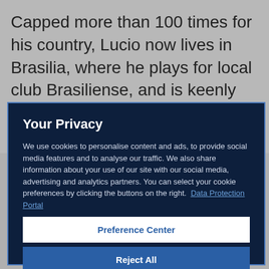Capped more than 100 times for his country, Lucio now lives in Brasilia, where he plays for local club Brasiliense, and is keenly awaiting the chance to watch the FIFA U-17
Your Privacy
We use cookies to personalise content and ads, to provide social media features and to analyse our traffic. We also share information about your use of our site with our social media, advertising and analytics partners. You can select your cookie preferences by clicking the buttons on the right.  Data Protection Portal
Preference Center
Reject All
I'm OK with that